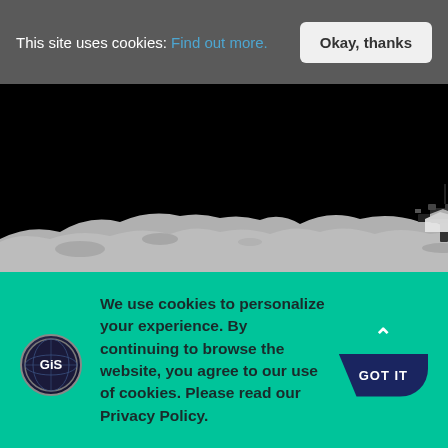This site uses cookies: Find out more.
Okay, thanks
[Figure (photo): Photograph of lunar surface and spacecraft/lunar module against black space background]
We use cookies to personalize your experience. By continuing to browse the website, you agree to our use of cookies. Please read our Privacy Policy.
GOT IT